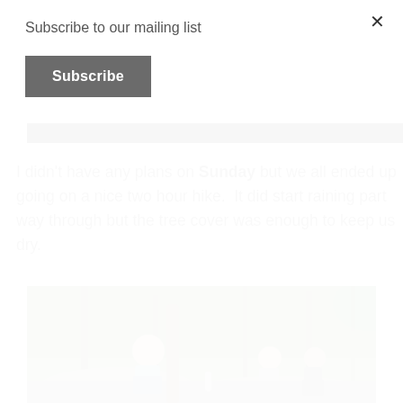Subscribe to our mailing list
Subscribe
I didn't have any plans on Sunday but we all ended up going on a nice two hour hike.  It did start raining part way through but the tree cover was enough to keep us dry.
[Figure (photo): People sitting on rocks during a hike in a forest. An adult and two boys resting on boulders with trees and green foliage in background.]